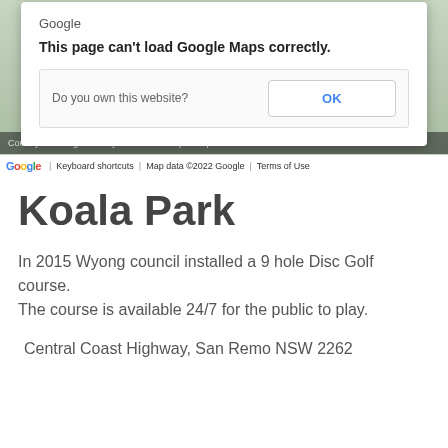[Figure (screenshot): Google Maps error dialog overlaid on a map view. The dialog shows 'Google' logo at top, bold text 'This page can't load Google Maps correctly.', a box with 'Do you own this website?' and an 'OK' button. The map background shows green terrain. Bottom bar shows Google logo, 'Keyboard shortcuts', 'Map data ©2022 Google', 'Terms of Use'.]
Koala Park
In 2015 Wyong council installed a 9 hole Disc Golf course.
The course is available 24/7 for the public to play.
Central Coast Highway, San Remo NSW 2262